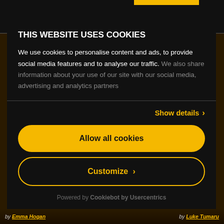THIS WEBSITE USES COOKIES
We use cookies to personalise content and ads, to provide social media features and to analyse our traffic. We also share information about your use of our site with our social media, advertising and analytics partners
Show details ›
Allow all cookies
Customize ›
Powered by Cookiebot by Usercentrics
by Emma Hogan
by Luke Tumaru